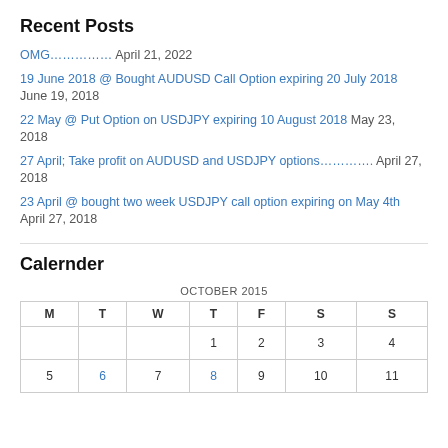Recent Posts
OMG…………… April 21, 2022
19 June 2018 @ Bought AUDUSD Call Option expiring 20 July 2018  June 19, 2018
22 May @ Put Option on USDJPY expiring 10 August 2018  May 23, 2018
27 April; Take profit on AUDUSD and USDJPY options………….  April 27, 2018
23 April @ bought two week USDJPY call option expiring on May 4th  April 27, 2018
Calernder
| M | T | W | T | F | S | S |
| --- | --- | --- | --- | --- | --- | --- |
|  |  |  | 1 | 2 | 3 | 4 |
| 5 | 6 | 7 | 8 | 9 | 10 | 11 |